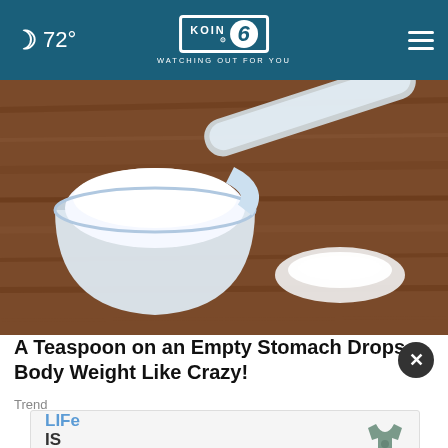🌙 72° | KOIN 6 | WATCHING OUT FOR YOU
[Figure (photo): A white plastic measuring scoop filled with white powder (protein powder or supplement), with a small mound of the same powder spilled beside it, on a rustic wood surface.]
A Teaspoon on an Empty Stomach Drops Body Weight Like Crazy!
Trendl…
[Figure (other): Life Is Good brand advertisement banner with a t-shirt graphic on the right side.]